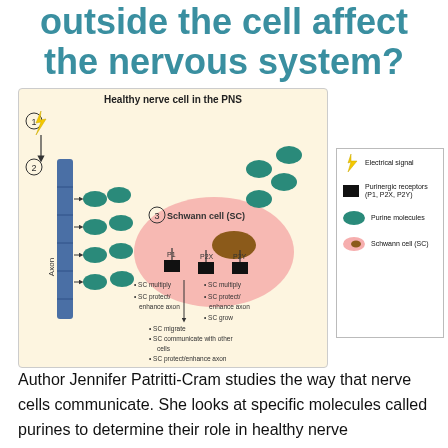outside the cell affect the nervous system?
[Figure (schematic): Diagram of a healthy nerve cell in the PNS showing an axon (labeled 2) with purine molecules (teal ovals) being released, Schwann cell (SC, labeled 3) with purinergic receptors P1, P2X, P2Y, and a legend showing electrical signal (lightning bolt), purinergic receptors (black rectangle), purine molecules (teal oval), and Schwann cell (pink oval with brown nucleus).]
Author Jennifer Patritti-Cram studies the way that nerve cells communicate. She looks at specific molecules called purines to determine their role in healthy nerve